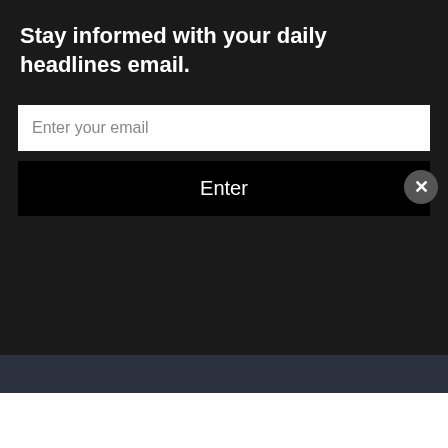Stay informed with your daily headlines email.
| Location | Dose 1 | Dose 2 | Booster |
| --- | --- | --- | --- |
| Statewide | 6,266,25 (73.4%) | (not reported) | (64.4%) |
| James City County | 54,928 (71.8%) | 48,774 (63.7%) | 20,340 (20.3%) |
| City of Williamsburg | 8,271 (55.3%) | 7,352 (49.2%) | 1,577 (10.5%) |